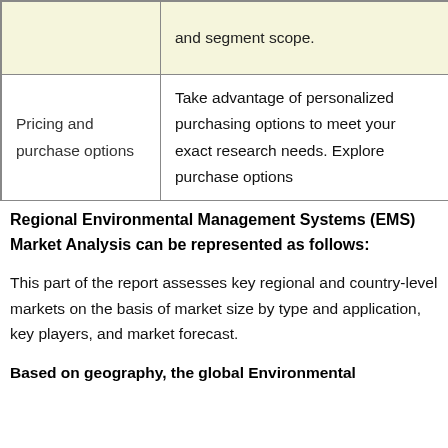|  |  |
| --- | --- |
|  | and segment scope. |
| Pricing and purchase options | Take advantage of personalized purchasing options to meet your exact research needs. Explore purchase options |
Regional Environmental Management Systems (EMS) Market Analysis can be represented as follows:
This part of the report assesses key regional and country-level markets on the basis of market size by type and application, key players, and market forecast.
Based on geography, the global Environmental